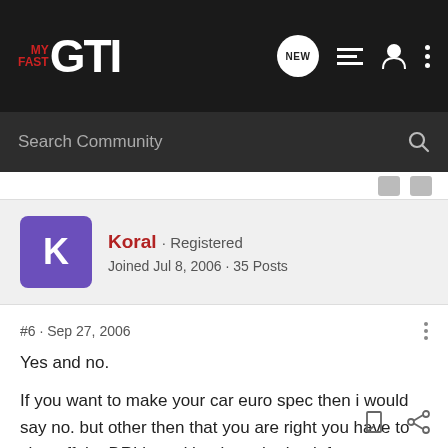MY FAST GTI — navigation bar with search
Search Community
Koral · Registered
Joined Jul 8, 2006 · 35 Posts
#6 · Sep 27, 2006
Yes and no.

If you want to make your car euro spec then i would say no. but other then that you are right you have to shut off the DRL's and hook up the back fog.